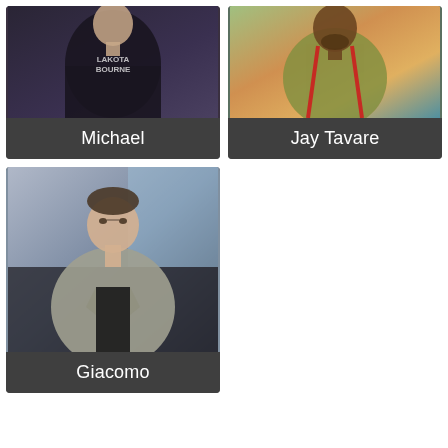[Figure (photo): Photo of Michael wearing a dark t-shirt with 'Lakota Bourne' text, outdoors]
Michael
[Figure (photo): Photo of Jay Tavare wearing a colorful patterned shirt with red suspenders, outdoors]
Jay Tavare
[Figure (photo): Photo of Giacomo wearing a gray blazer over a black shirt, indoors]
Giacomo